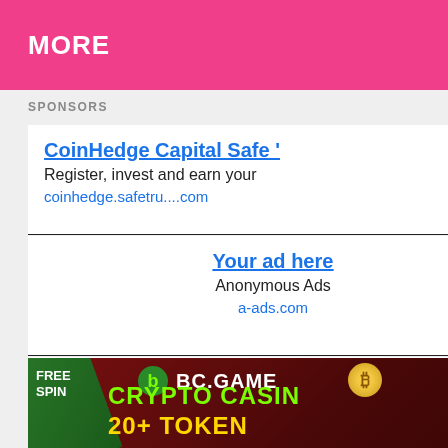MORE
SPONSORS
CoinHedge Capital Safe …
Register, invest and earn your
coinhedge.safetru....com
Your ad here
Anonymous Ads
a-ads.com
Your ad here
[Figure (illustration): BC.GAME crypto casino banner with green 'FREE SPIN' stripe in top-left corner, BC.GAME logo with orange coin icon, bright green 'CRYPTO CASINO' text, and golden '20+ TOKENS' text on dark red background]